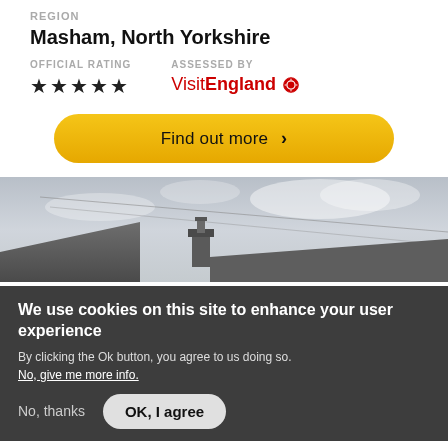REGION
Masham, North Yorkshire
OFFICIAL RATING
★★★★★
ASSESSED BY
VisitEngland
Find out more >
[Figure (photo): Outdoor photo showing a rooftop chimney against a grey cloudy sky with power lines visible.]
We use cookies on this site to enhance your user experience
By clicking the Ok button, you agree to us doing so.
No, give me more info.
No, thanks
OK, I agree